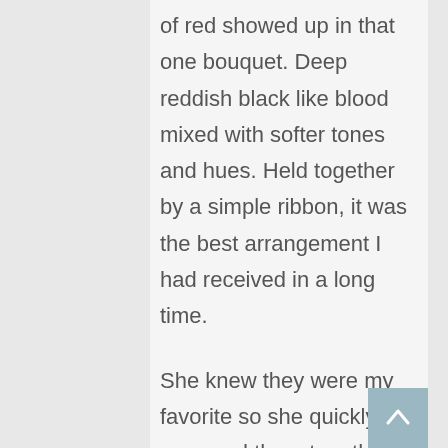of red showed up in that one bouquet. Deep reddish black like blood mixed with softer tones and hues. Held together by a simple ribbon, it was the best arrangement I had received in a long time.
She knew they were my favorite so she quickly arranged them together and tied them with the crimson ribbon, sparkling red upon red. It wasn't roses or dahlias that were my favorite and she knew it. The moment we walked outside that day to go on an afternoon walk, I inhaled